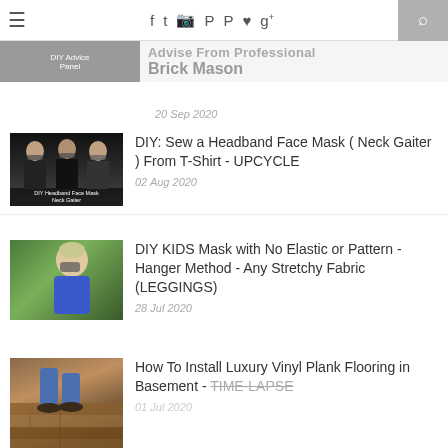Advise From Professional Brick Mason
20 Sep 2020
[Figure (photo): Three women wearing headband face masks / neck gaiters, with text overlay 'DIY Headband Face Mask Neck Gaiter']
DIY: Sew a Headband Face Mask ( Neck Gaiter ) From T-Shirt - UPCYCLE
02 Aug 2020
[Figure (photo): Child wearing a DIY mask, shown from the side, with green foliage background]
DIY KIDS Mask with No Elastic or Pattern - Hanger Method - Any Stretchy Fabric (LEGGINGS)
28 Jul 2020
[Figure (photo): Person's feet installing luxury vinyl plank flooring, dark wood-look planks on floor]
How To Install Luxury Vinyl Plank Flooring in Basement - TIME-LAPSE
01 Jul 2020